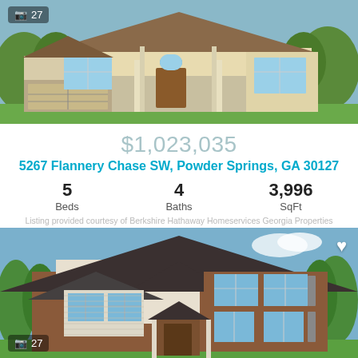[Figure (photo): Exterior rendering of a stone and stucco single-story house with arched window and garage, with photo count overlay showing camera icon and 27]
$1,023,035
5267 Flannery Chase SW, Powder Springs, GA 30127
5 Beds   4 Baths   3,996 SqFt
Listing provided courtesy of Berkshire Hathaway Homeservices Georgia Properties
[Figure (logo): FMLS IDX logo in green italic font]
[Figure (photo): Exterior rendering of a two-story brick and siding craftsman-style house with blue sky background, heart/favorite icon in upper right, photo counter showing camera icon and 27 in lower left]